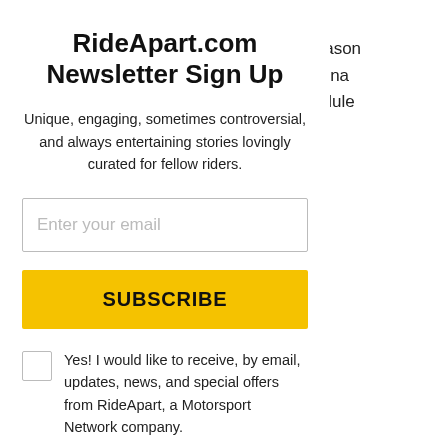r more races, o 18. The season rack at Daytona t of the schedule
RideApart.com Newsletter Sign Up
Unique, engaging, sometimes controversial, and always entertaining stories lovingly curated for fellow riders.
Enter your email
SUBSCRIBE
Yes! I would like to receive, by email, updates, news, and special offers from RideApart, a Motorsport Network company.